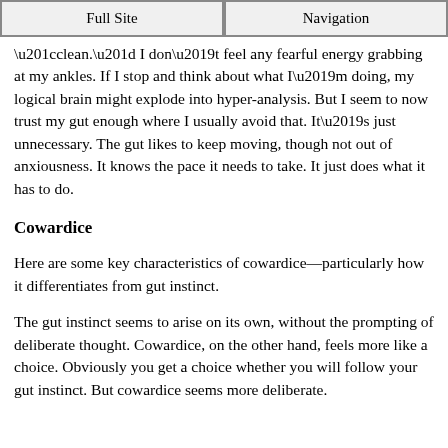Full Site | Navigation
“clean.” I don’t feel any fearful energy grabbing at my ankles. If I stop and think about what I’m doing, my logical brain might explode into hyper-analysis. But I seem to now trust my gut enough where I usually avoid that. It’s just unnecessary. The gut likes to keep moving, though not out of anxiousness. It knows the pace it needs to take. It just does what it has to do.
Cowardice
Here are some key characteristics of cowardice—particularly how it differentiates from gut instinct.
The gut instinct seems to arise on its own, without the prompting of deliberate thought. Cowardice, on the other hand, feels more like a choice. Obviously you get a choice whether you will follow your gut instinct. But cowardice seems more deliberate.